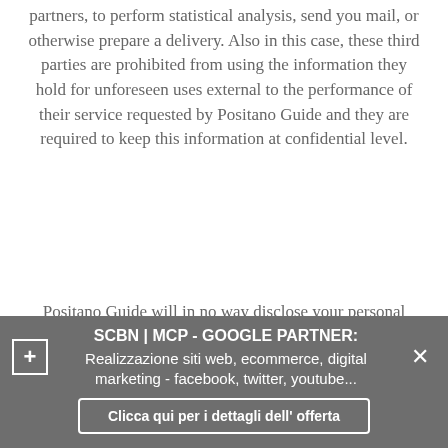partners, to perform statistical analysis, send you mail, or otherwise prepare a delivery. Also in this case, these third parties are prohibited from using the information they hold for unforeseen uses external to the performance of their service requested by Positano Guide and they are required to keep this information at confidential level.
Positano Guide will in no way disclose your personal information, such as race, religion or political preference, without your explicit
[Figure (screenshot): Dark grey overlay banner advertisement: 'SCBN | MCP - GOOGLE PARTNER: Realizzazione siti web, ecommerce, digital marketing - facebook, twitter, youtube...' with a plus button on the left, an X close button on the right, and a 'Clicca qui per i dettagli dell' offerta' button at the bottom.]